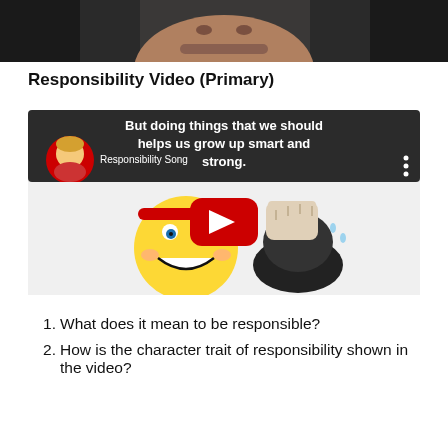[Figure (photo): Close-up photo of a person's face, partially visible, dark background]
Responsibility Video (Primary)
[Figure (screenshot): YouTube video thumbnail showing 'Responsibility Song' with text 'But doing things that we should helps us grow up smart and strong.' overlaid on a smiley face emoji flexing a muscle arm, with a red YouTube play button in the center]
What does it mean to be responsible?
How is the character trait of responsibility shown in the video?